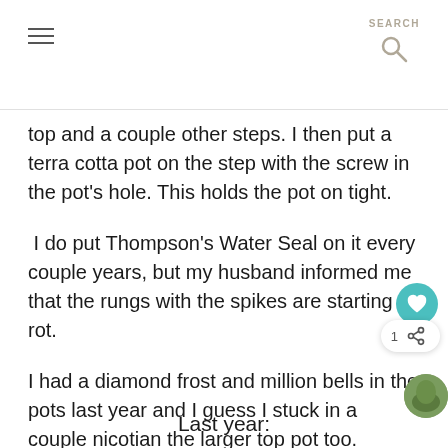[Navigation header with hamburger menu and SEARCH icon]
top and a couple other steps.  I then put a terra cotta pot on the step with the screw in the pot's hole.  This holds the pot on tight.
I do put Thompson's Water Seal on it every couple years, but my husband informed me that the rungs with the spikes are starting to rot.
I had a diamond frost and million bells in the pots last year and I guess I stuck in a couple nicotian the larger top pot too.
Last year: